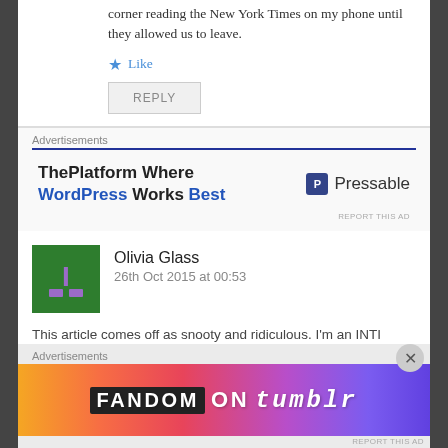corner reading the New York Times on my phone until they allowed us to leave.
Like
REPLY
Advertisements
[Figure (other): WordPress advertisement: ThePlatform Where WordPress Works Best, Pressable logo]
Olivia Glass
26th Oct 2015 at 00:53
This article comes off as snooty and ridiculous. I'm an INTI
Advertisements
[Figure (other): Fandom on Tumblr advertisement banner with colorful gradient background]